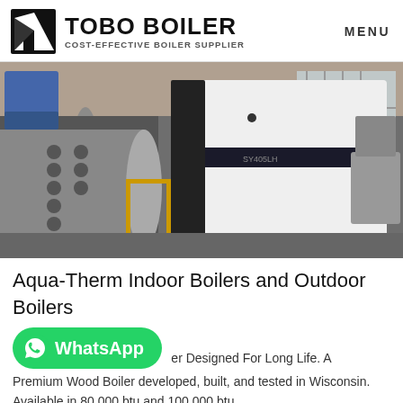TOBO BOILER COST-EFFECTIVE BOILER SUPPLIER | MENU
[Figure (photo): Industrial boiler equipment in a factory/warehouse setting. A large white rectangular boiler unit is prominently visible in the center, with cylindrical steel vessels in the background to the left. The facility has concrete floors and large windows.]
Aqua-Therm Indoor Boilers and Outdoor Boilers
[Figure (logo): WhatsApp button - green rounded rectangle with WhatsApp icon and text 'WhatsApp']
er Designed For Long Life. A Premium Wood Boiler developed, built, and tested in Wisconsin. Available in 80,000 btu and 100,000 btu